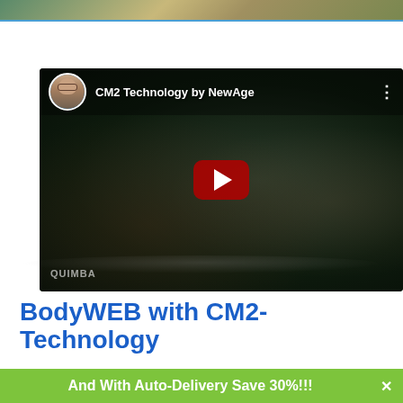[Figure (photo): Top image bar showing partial photo with greenish and tan tones, with blue border at bottom]
[Figure (screenshot): YouTube video thumbnail showing 'CM2 Technology by NewAge' with a man's avatar/profile picture, dark background with two people, and a red YouTube play button in the center. Text 'QUIMBA' visible in bottom left.]
BodyWEB with CM2-Technology
And With Auto-Delivery Save 30%!!!